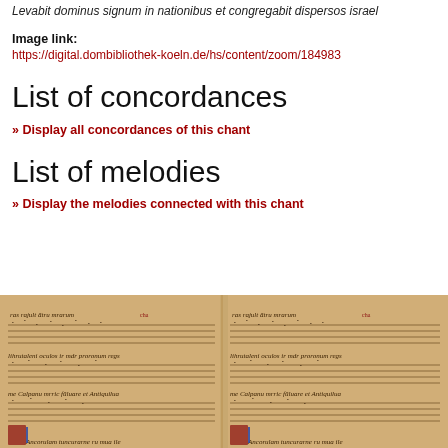Levabit dominus signum in nationibus et congregabit dispersos israel
Image link:
https://digital.dombibliothek-koeln.de/hs/content/zoom/184983
List of concordances
» Display all concordances of this chant
List of melodies
» Display the melodies connected with this chant
[Figure (illustration): Manuscript page showing medieval plainchant notation on a parchment-colored background with Latin text, repeated side by side in two columns]